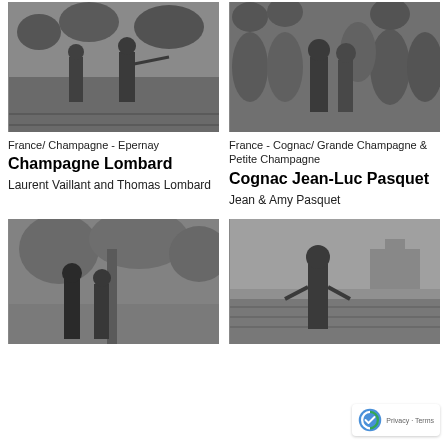[Figure (photo): Black and white photo of two men standing in a vineyard, one pointing outward]
[Figure (photo): Black and white photo of a man and woman posing in front of large wine barrels]
France/ Champagne - Epernay
Champagne Lombard
Laurent Vaillant and Thomas Lombard
France - Cognac/ Grande Champagne & Petite Champagne
Cognac Jean-Luc Pasquet
Jean & Amy Pasquet
[Figure (photo): Black and white photo of two people standing outdoors near trees]
[Figure (photo): Black and white photo of a young man standing in a vineyard with a building in the background]